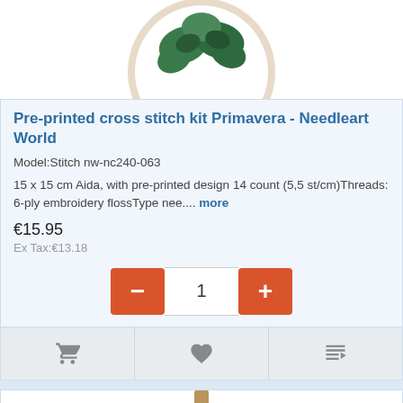[Figure (photo): Cross stitch embroidery hoop with green leaf/clover design on white fabric, top portion visible]
Pre-printed cross stitch kit Primavera - Needleart World
Model:Stitch nw-nc240-063
15 x 15 cm Aida, with pre-printed design 14 count (5,5 st/cm)Threads: 6-ply embroidery flossType nee.... more
€15.95
Ex Tax:€13.18
[Figure (screenshot): Quantity selector with minus button, quantity 1, and plus button]
[Figure (screenshot): Action bar with shopping cart icon, heart/wishlist icon, and compare icon]
[Figure (photo): Cross stitch embroidery hoop with pink flower/dahlia design on white fabric, with wooden screw at top]